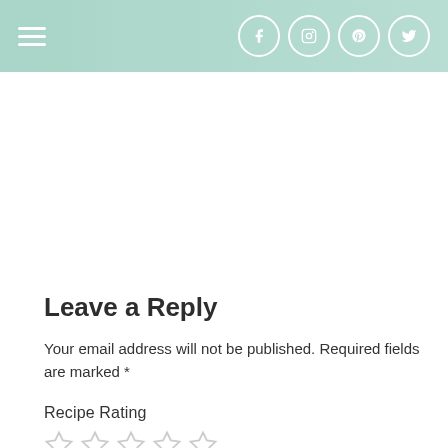Navigation header with hamburger menu and social icons (Facebook, Instagram, Pinterest, Twitter)
Leave a Reply
Your email address will not be published. Required fields are marked *
Recipe Rating
[Figure (other): Five empty star rating icons in a row]